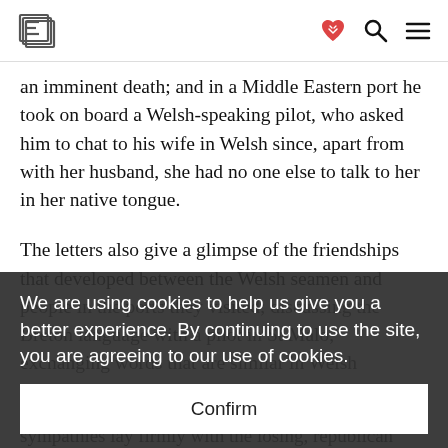E [logo] [heart-handshake icon] [search icon] [menu icon]
an imminent death; and in a Middle Eastern port he took on board a Welsh-speaking pilot, who asked him to chat to his wife in Welsh since, apart from with her husband, she had no one else to talk to her in her native tongue.
The letters also give a glimpse of the friendships that developed between the Welsh seamen and people in the ports they visited; discussing the Breton language with a pilot in St Malo, exchanging words that are similar in Welsh
We are using cookies to help us give you a better experience. By continuing to use the site, you are agreeing to our use of cookies.
Confirm
sympathies lay firmly with the losing, republican